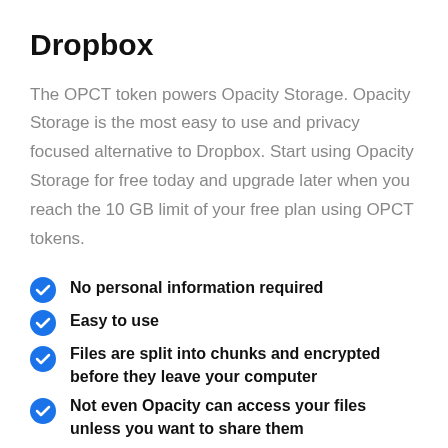Dropbox
The OPCT token powers Opacity Storage. Opacity Storage is the most easy to use and privacy focused alternative to Dropbox. Start using Opacity Storage for free today and upgrade later when you reach the 10 GB limit of your free plan using OPCT tokens.
No personal information required
Easy to use
Files are split into chunks and encrypted before they leave your computer
Not even Opacity can access your files unless you want to share them